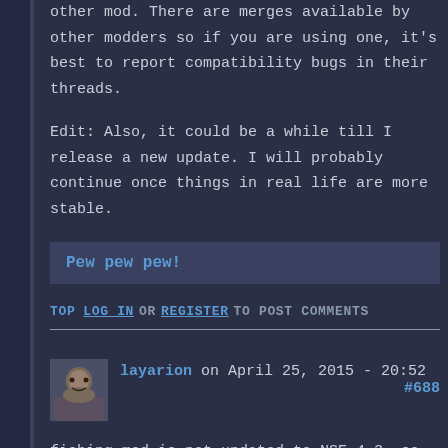other mod. There are merges available by other modders so if you are using one, it's best to report compatibility bugs in their threads.

Edit: Also, it could be a while till I release a new update. I will probably continue once things in real life are more stable.
Pew pew pew!
TOP   LOG IN OR REGISTER TO POST COMMENTS
layarion on April 25, 2015 - 20:52   #688
fishing mod is not updated to NSE 4.3, so you